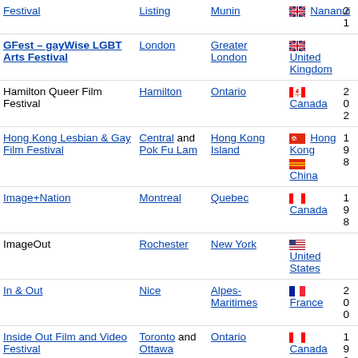| Festival | City | Region | Country | Year |
| --- | --- | --- | --- | --- |
| GFest – gayWise LGBT Arts Festival | London | Greater London | 🇬🇧 United Kingdom |  |
| Hamilton Queer Film Festival | Hamilton | Ontario | 🇨🇦 Canada | 202 |
| Hong Kong Lesbian & Gay Film Festival | Central and Pok Fu Lam | Hong Kong Island | 🇭🇰 Hong Kong / 🇨🇳 China | 198 |
| Image+Nation | Montreal | Quebec | 🇨🇦 Canada | 198 |
| ImageOut | Rochester | New York | 🇺🇸 United States |  |
| In & Out | Nice | Alpes-Maritimes | 🇫🇷 France | 200 |
| Inside Out Film and Video Festival | Toronto and Ottawa | Ontario | 🇨🇦 Canada | 199 |
| Iris Prize Film Festival | Cardiff | Wales | 🇬🇧 United Kingdom | 200 |
| Kagawa Rainbow Film Festival | Kagawa | Kagawa Prefecture | 🇯🇵 Japan |  |
| KASHISH Mumbai International Queer | Mumbai | Maharashtra | 🇮🇳 India | 201 |